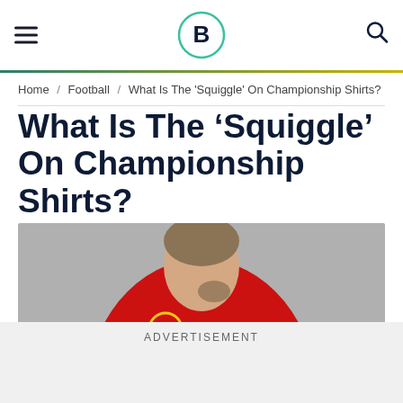B (logo) — hamburger menu, search icon
Home / Football / What Is The 'Squiggle' On Championship Shirts?
What Is The 'Squiggle' On Championship Shirts?
[Figure (photo): A footballer seen from behind wearing a red jersey with 'WYKE' on the back and a yellow circle highlighting a small logo/squiggle near the collar area, on a grey background.]
ADVERTISEMENT